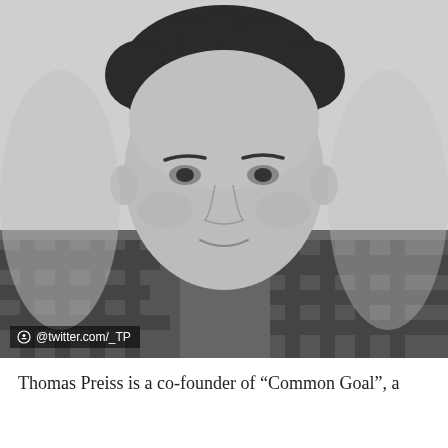[Figure (photo): Black and white portrait photo of a young man with short dark hair, wearing a plaid flannel shirt, smiling slightly at the camera. Light background. Photo credit: @twitter.com/_TP]
@twitter.com/_TP
Thomas Preiss is a co-founder of “Common Goal”, a